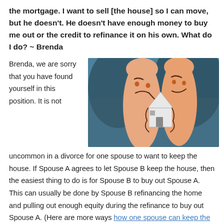the mortgage. I want to sell [the house] so I can move, but he doesn't. He doesn't have enough money to buy me out or the credit to refinance it on his own. What do I do? ~ Brenda
Brenda, we are sorry that you have found yourself in this position. It is not
[Figure (photo): Two fingers with angry cartoon faces drawn on them, each holding opposite sides of a small paper house shape, set against a blurred teal/dark background.]
uncommon in a divorce for one spouse to want to keep the house. If Spouse A agrees to let Spouse B keep the house, then the easiest thing to do is for Spouse B to buy out Spouse A. This can usually be done by Spouse B refinancing the home and pulling out enough equity during the refinance to buy out Spouse A. (Here are more ways how one spouse can keep the house after a divorce.)